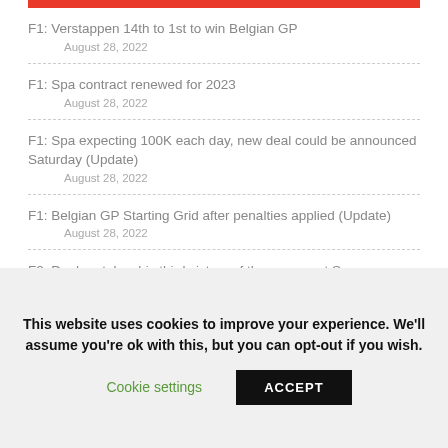F1: Verstappen 14th to 1st to win Belgian GP
August 28, 2022
F1: Spa contract renewed for 2023
August 28, 2022
F1: Spa expecting 100K each day, new deal could be announced Saturday (Update)
August 28, 2022
F1: Belgian GP Starting Grid after penalties applied (Update)
August 28, 2022
F2: Doohan takes his third victory of the season at Spa
August 28, 2022
This website uses cookies to improve your experience. We'll assume you're ok with this, but you can opt-out if you wish. Cookie settings ACCEPT